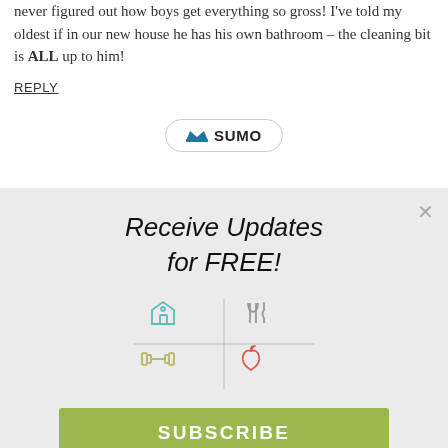never figured out how boys get everything so gross! I've told my oldest if in our new house he has his own bathroom – the cleaning bit is ALL up to him!
REPLY
[Figure (logo): Sumo logo button: crown icon with SUMO text in a rounded pill button]
[Figure (infographic): Modal popup with 'Receive Updates for FREE!' heading, four icons (house, fork/knife, dumbbell, apple) arranged in a 2x2 grid with dividing lines, and a green SUBSCRIBE button. Close X in top right.]